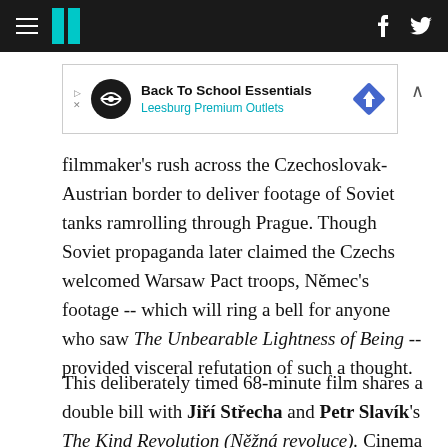HuffPost navigation header with hamburger menu, logo, Facebook and Twitter icons
[Figure (other): Advertisement banner: Back To School Essentials – Leesburg Premium Outlets, with circular logo and diamond directional sign icon]
filmmaker's rush across the Czechoslovak-Austrian border to deliver footage of Soviet tanks ramrolling through Prague. Though Soviet propaganda later claimed the Czechs welcomed Warsaw Pact troops, Němec's footage -- which will ring a bell for anyone who saw The Unbearable Lightness of Being -- provided visceral refutation of such a thought.
This deliberately timed 68-minute film shares a double bill with Jiří Střecha and Petr Slavík's The Kind Revolution (Něžná revoluce). Cinema is